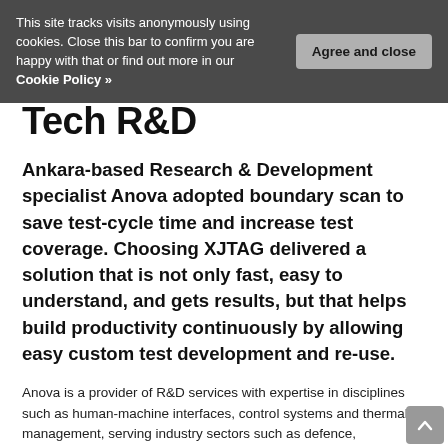This site tracks visits anonymously using cookies. Close this bar to confirm you are happy with that or find out more in our Cookie Policy »
Agree and close
Tech R&D
Ankara-based Research & Development specialist Anova adopted boundary scan to save test-cycle time and increase test coverage. Choosing XJTAG delivered a solution that is not only fast, easy to understand, and gets results, but that helps build productivity continuously by allowing easy custom test development and re-use.
Anova is a provider of R&D services with expertise in disciplines such as human-machine interfaces, control systems and thermal management, serving industry sectors such as defence, aerospace, automotive, home appliances, energy, environment, construction and machine manufacturing. Based in Ankara, Turkey, and with offices in